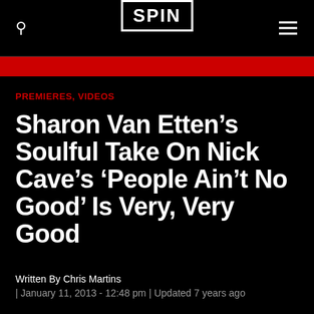SPIN
PREMIERES, VIDEOS
Sharon Van Etten's Soulful Take On Nick Cave's 'People Ain't No Good' Is Very, Very Good
Written By Chris Martins
| January 11, 2013 - 12:48 pm | Updated 7 years ago